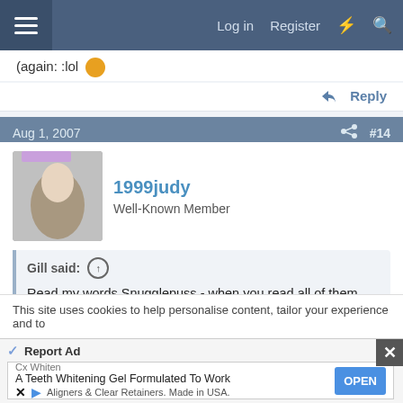Log in  Register
(again: :lol
Reply
Aug 1, 2007  #14
1999judy
Well-Known Member
Gill said:
Read my words Snugglepuss - when you read all of them, you may realise that i am not basing my outburst on education and others experiences, but my own. I HAVE type 1 diabetes.
This site uses cookies to help personalise content, tailor your experience and to
Report Ad
Cx Whiten
A Teeth Whitening Gel Formulated To Work
Aligners & Clear Retainers. Made in USA.
OPEN